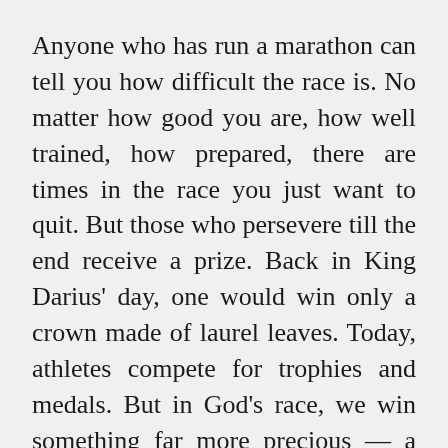Anyone who has run a marathon can tell you how difficult the race is. No matter how good you are, how well trained, how prepared, there are times in the race you just want to quit. But those who persevere till the end receive a prize. Back in King Darius' day, one would win only a crown made of laurel leaves. Today, athletes compete for trophies and medals. But in God's race, we win something far more precious — a crown that is incorruptible.
I bet you're tired today. You are overworked, overstressed, overwhelmed